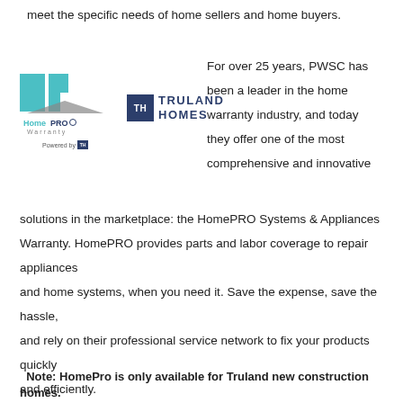meet the specific needs of home sellers and home buyers.
[Figure (logo): HomePRO Warranty logo (teal HP letters with house roof shape, 'HomePRO Warranty' text, 'Powered by' with small icon) and Truland Homes logo (dark navy TH box with TRULAND HOMES text)]
For over 25 years, PWSC has been a leader in the home warranty industry, and today they offer one of the most comprehensive and innovative solutions in the marketplace: the HomePRO Systems & Appliances Warranty. HomePRO provides parts and labor coverage to repair appliances and home systems, when you need it. Save the expense, save the hassle, and rely on their professional service network to fix your products quickly and efficiently.
Note: HomePro is only available for Truland new construction homes.